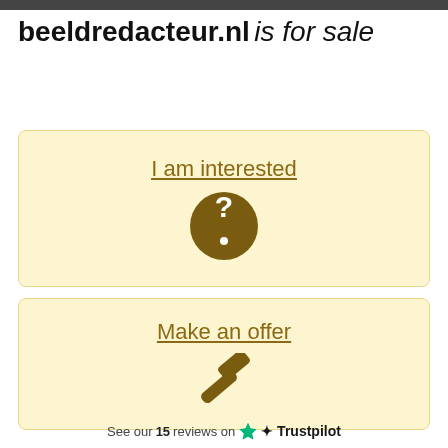beeldredacteur.nl is for sale
[Figure (infographic): Yellow card with 'I am interested' link and a dark brown circle containing a white question mark icon]
[Figure (infographic): Yellow card with 'Make an offer' link and a dark brown gavel/hammer icon]
See our 15 reviews on ★ Trustpilot